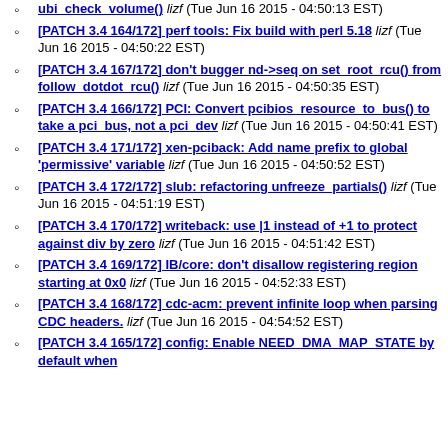ubi_check_volume() lizf (Tue Jun 16 2015 - 04:50:13 EST)
[PATCH 3.4 164/172] perf tools: Fix build with perl 5.18 lizf (Tue Jun 16 2015 - 04:50:22 EST)
[PATCH 3.4 167/172] don't bugger nd->seq on set_root_rcu() from follow_dotdot_rcu() lizf (Tue Jun 16 2015 - 04:50:35 EST)
[PATCH 3.4 166/172] PCI: Convert pcibios_resource_to_bus() to take a pci_bus, not a pci_dev lizf (Tue Jun 16 2015 - 04:50:41 EST)
[PATCH 3.4 171/172] xen-pciback: Add name prefix to global 'permissive' variable lizf (Tue Jun 16 2015 - 04:50:52 EST)
[PATCH 3.4 172/172] slub: refactoring unfreeze_partials() lizf (Tue Jun 16 2015 - 04:51:19 EST)
[PATCH 3.4 170/172] writeback: use |1 instead of +1 to protect against div by zero lizf (Tue Jun 16 2015 - 04:51:42 EST)
[PATCH 3.4 169/172] IB/core: don't disallow registering region starting at 0x0 lizf (Tue Jun 16 2015 - 04:52:33 EST)
[PATCH 3.4 168/172] cdc-acm: prevent infinite loop when parsing CDC headers. lizf (Tue Jun 16 2015 - 04:54:52 EST)
[PATCH 3.4 165/172] config: Enable NEED_DMA_MAP_STATE by default when